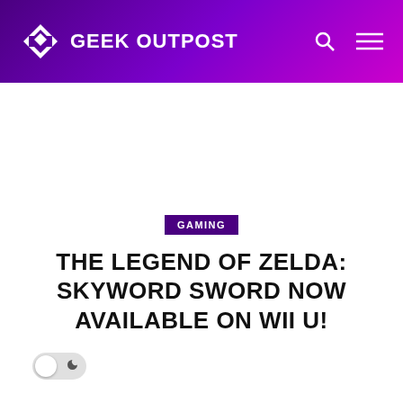GEEK OUTPOST
GAMING
THE LEGEND OF ZELDA: SKYWORD SWORD NOW AVAILABLE ON WII U!